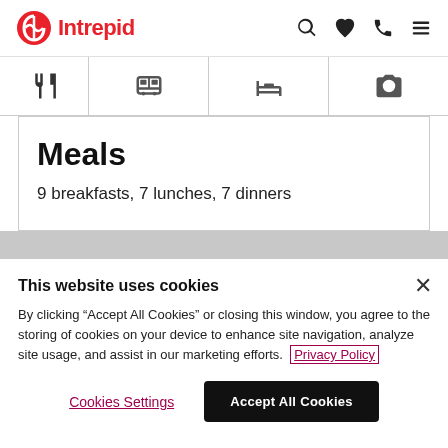Intrepid
[Figure (infographic): Navigation icon bar with fork-and-knife, bus/train, bed, and camera icons]
Meals
9 breakfasts, 7 lunches, 7 dinners
This website uses cookies
By clicking "Accept All Cookies" or closing this window, you agree to the storing of cookies on your device to enhance site navigation, analyze site usage, and assist in our marketing efforts. Privacy Policy
Cookies Settings  Accept All Cookies